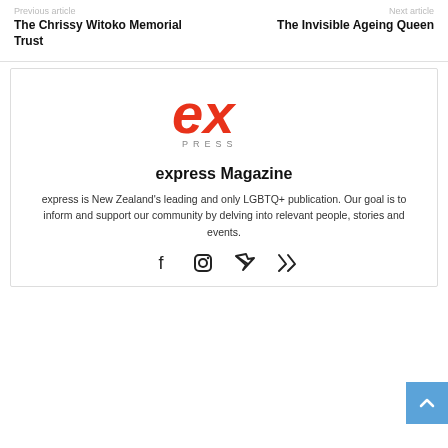Previous article
Next article
The Chrissy Witoko Memorial Trust
The Invisible Ageing Queen
[Figure (logo): express Magazine logo — stylized red 'ex' text with 'PRESS' in spaced grey letters below]
express Magazine
express is New Zealand's leading and only LGBTQ+ publication. Our goal is to inform and support our community by delving into relevant people, stories and events.
[Figure (other): Social media icons: Facebook, Instagram, Twitter, Xing]